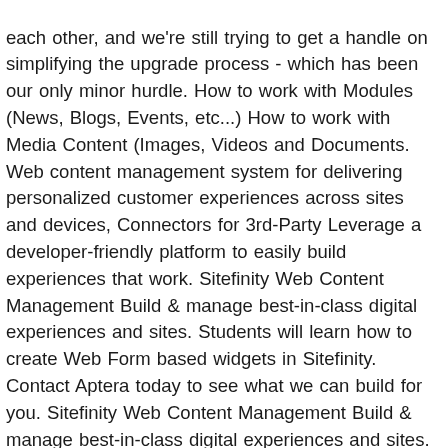each other, and we're still trying to get a handle on simplifying the upgrade process - which has been our only minor hurdle. How to work with Modules (News, Blogs, Events, etc...) How to work with Media Content (Images, Videos and Documents. Web content management system for delivering personalized customer experiences across sites and devices, Connectors for 3rd-Party Leverage a developer-friendly platform to easily build experiences that work. Sitefinity Web Content Management Build & manage best-in-class digital experiences and sites. Students will learn how to create Web Form based widgets in Sitefinity. Contact Aptera today to see what we can build for you. Sitefinity Web Content Management Build & manage best-in-class digital experiences and sites. This greatly increases the performance of page rendering because it does not have to compile or generate the HTML. Its unrivaled collaboration with Progress Sitefinity ensures that it provides clients a unified experience while delivering the most valuable insight and quality results. Sitefinity Content Management has a lot